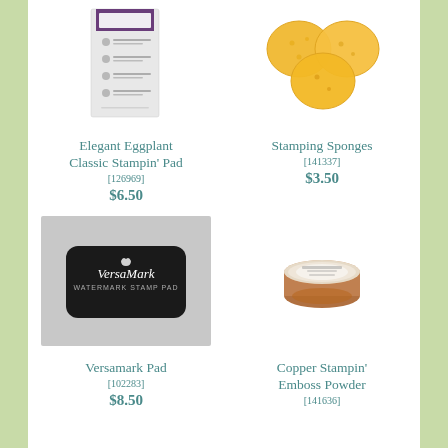[Figure (photo): Elegant Eggplant Classic Stampin' Pad product photo - ink pad box with purple label]
[Figure (photo): Stamping Sponges product photo - three yellow/orange circular sponges]
Elegant Eggplant Classic Stampin' Pad [126969] $6.50
Stamping Sponges [141337] $3.50
[Figure (photo): Versamark Pad product photo - black rectangular watermark stamp pad on gray background]
[Figure (photo): Copper Stampin' Emboss Powder product photo - small round white container with copper powder]
Versamark Pad [102283] $8.50
Copper Stampin' Emboss Powder [141636]